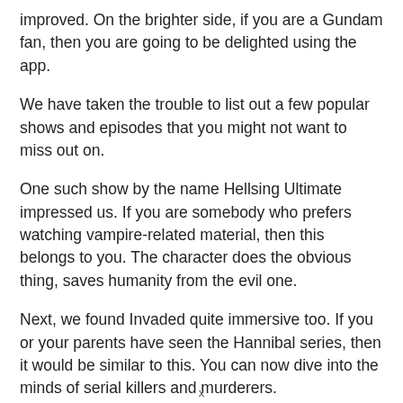improved. On the brighter side, if you are a Gundam fan, then you are going to be delighted using the app.
We have taken the trouble to list out a few popular shows and episodes that you might not want to miss out on.
One such show by the name Hellsing Ultimate impressed us. If you are somebody who prefers watching vampire-related material, then this belongs to you. The character does the obvious thing, saves humanity from the evil one.
Next, we found Invaded quite immersive too. If you or your parents have seen the Hannibal series, then it would be similar to this. You can now dive into the minds of serial killers and murderers.
The main character is a detective who tries to think like criminals, to apprehend them. Finally, Lupin The Third Part II is another show that
x